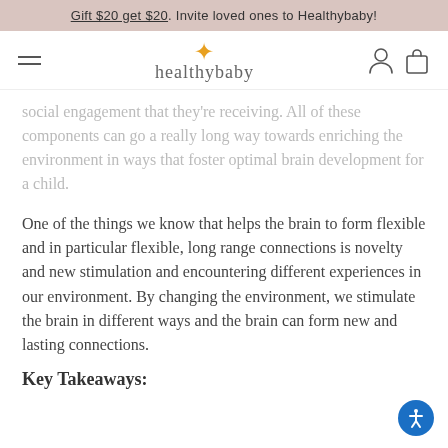Gift $20 get $20. Invite loved ones to Healthybaby!
[Figure (logo): Healthybaby logo with star and hamburger menu, user and cart icons]
social engagement that they're receiving. All of these components can go a really long way towards enriching the environment in ways that foster optimal brain development for a child.
One of the things we know that helps the brain to form flexible and in particular flexible, long range connections is novelty and new stimulation and encountering different experiences in our environment. By changing the environment, we stimulate the brain in different ways and the brain can form new and lasting connections.
Key Takeaways: